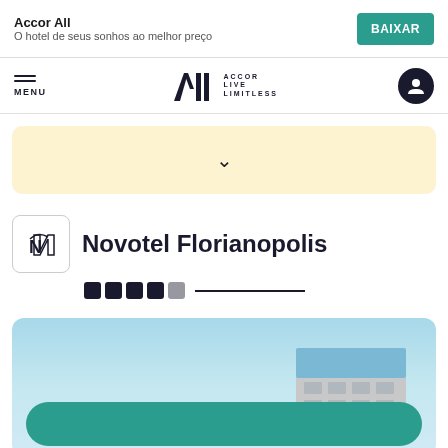Accor All — O hotel de seus sonhos ao melhor preço — BAIXAR
[Figure (screenshot): ALL - Accor Live Limitless navigation bar with menu and user icon]
[Figure (other): Search bar with chevron dropdown on pale yellow background]
Novotel Florianopolis
[Figure (other): Five dark square rating dots and a horizontal line]
[Figure (photo): Photo of Novotel Florianopolis hotel building exterior with blue sky, and a teal rounded button overlay]